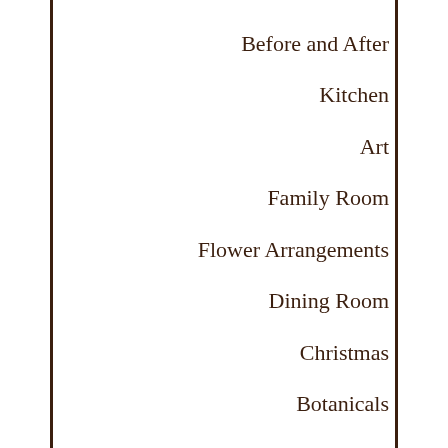Before and After
Kitchen
Art
Family Room
Flower Arrangements
Dining Room
Christmas
Botanicals